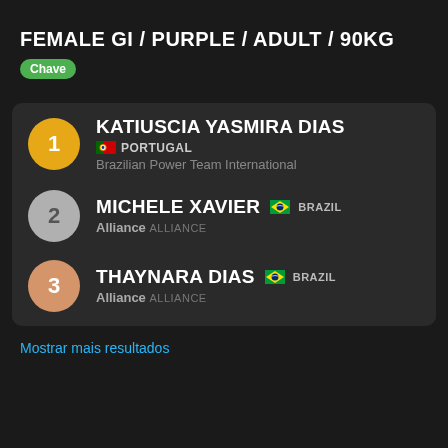FEMALE GI / PURPLE / ADULT / 90KG
Chave
1 - KATIUSCIA YASMIRA DIAS - PORTUGAL - Brazilian Power Team International
2 - MICHELE XAVIER - BRAZIL - Alliance ALLIANCE
3 - THAYNARA DIAS - BRAZIL - Alliance ALLIANCE
Mostrar mais resultados